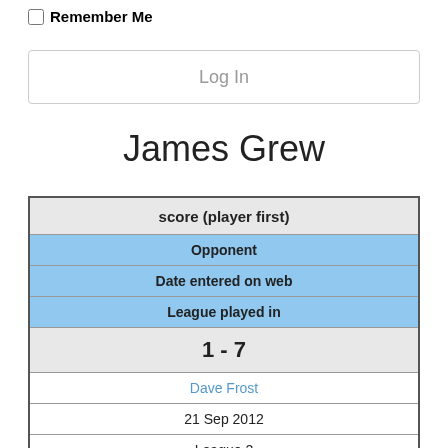Remember Me
Log In
James Grew
| score (player first) |
| --- |
| Opponent |
| Date entered on web |
| League played in |
| 1 - 7 |
| Dave Frost |
| 21 Sep 2012 |
| League 2 |
| 1 - 7 |
| Mike Lee |
| 12 Nov 2012 |
| League 5 |
| 5 - 5 |